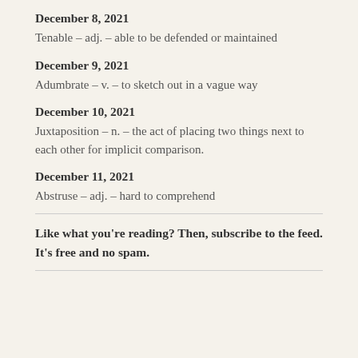December 8, 2021
Tenable – adj. – able to be defended or maintained
December 9, 2021
Adumbrate – v. – to sketch out in a vague way
December 10, 2021
Juxtaposition – n. – the act of placing two things next to each other for implicit comparison.
December 11, 2021
Abstruse – adj. – hard to comprehend
Like what you're reading? Then, subscribe to the feed. It's free and no spam.